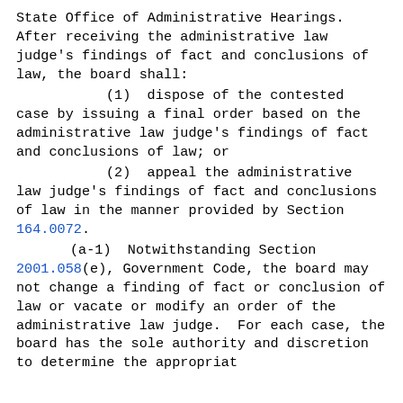State Office of Administrative Hearings. After receiving the administrative law judge's findings of fact and conclusions of law, the board shall:
(1)  dispose of the contested case by issuing a final order based on the administrative law judge's findings of fact and conclusions of law; or
(2)  appeal the administrative law judge's findings of fact and conclusions of law in the manner provided by Section 164.0072.
(a-1)  Notwithstanding Section 2001.058(e), Government Code, the board may not change a finding of fact or conclusion of law or vacate or modify an order of the administrative law judge.  For each case, the board has the sole authority and discretion to determine the appropriate